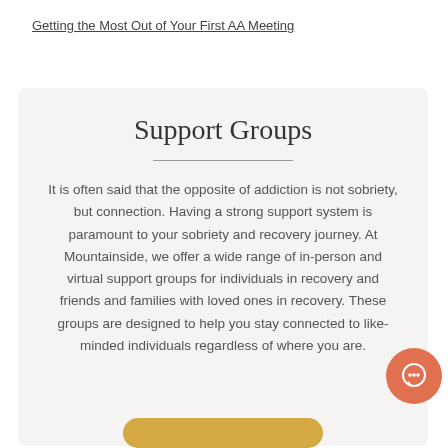Getting the Most Out of Your First AA Meeting
Support Groups
It is often said that the opposite of addiction is not sobriety, but connection. Having a strong support system is paramount to your sobriety and recovery journey. At Mountainside, we offer a wide range of in-person and virtual support groups for individuals in recovery and friends and families with loved ones in recovery. These groups are designed to help you stay connected to like-minded individuals regardless of where you are.